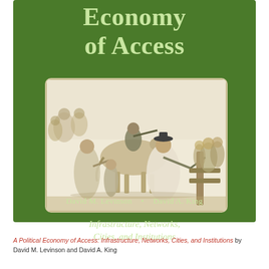Economy of Access
[Figure (illustration): Historical engraving/illustration showing a crowd scene with figures on horseback and on foot, apparently a toll gate scene with people in 19th century dress]
Infrastructure, Networks, Cities, and Institutions
David M. Levinson   •   David A. King
A Political Economy of Access: Infrastructure, Networks, Cities, and Institutions by David M. Levinson and David A. King